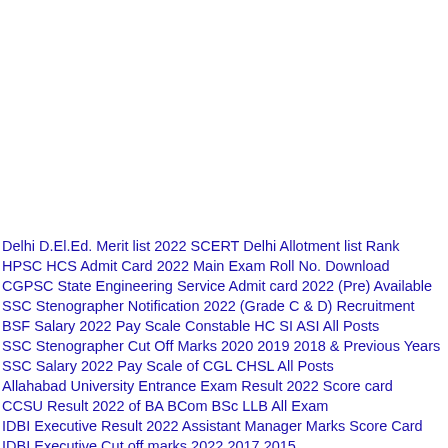Delhi D.El.Ed. Merit list 2022 SCERT Delhi Allotment list Rank
HPSC HCS Admit Card 2022 Main Exam Roll No. Download
CGPSC State Engineering Service Admit card 2022 (Pre) Available
SSC Stenographer Notification 2022 (Grade C & D) Recruitment
BSF Salary 2022 Pay Scale Constable HC SI ASI All Posts
SSC Stenographer Cut Off Marks 2020 2019 2018 & Previous Years
SSC Salary 2022 Pay Scale of CGL CHSL All Posts
Allahabad University Entrance Exam Result 2022 Score card
CCSU Result 2022 of BA BCom BSc LLB All Exam
IDBI Executive Result 2022 Assistant Manager Marks Score Card
IDBI Executive Cut off marks 2022 2017 2015